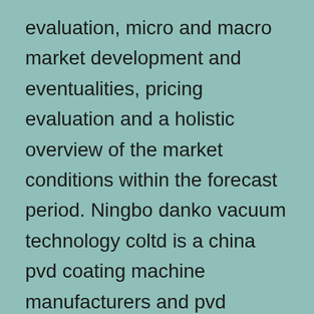evaluation, micro and macro market development and eventualities, pricing evaluation and a holistic overview of the market conditions within the forecast period. Ningbo danko vacuum technology coltd is a china pvd coating machine manufacturers and pvd plating machine suppliers, which was founded in 2007 as earlier title huahong vacuum technology. About eighty five% of those are metal coating equipment, 1% are laboratory heating equipments, and 1% are tungsten wire. Typically the events believe, that the change from coating service to in home production is a big break. It provides a forecast